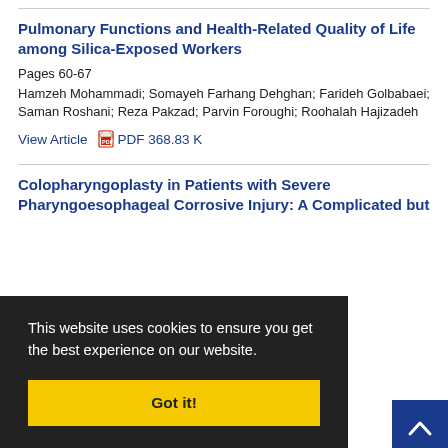Pulmonary Functions and Health-Related Quality of Life among Silica-Exposed Workers
Pages 60-67
Hamzeh Mohammadi; Somayeh Farhang Dehghan; Farideh Golbabaei; Saman Roshani; Reza Pakzad; Parvin Foroughi; Roohalah Hajizadeh
View Article   PDF 368.83 K
Colopharyngoplasty in Patients with Severe Pharyngoesophageal Corrosive Injury: A Complicated but ...ontinuity, A
...onfared; ...ehgam
View Article   PDF 311.33 K